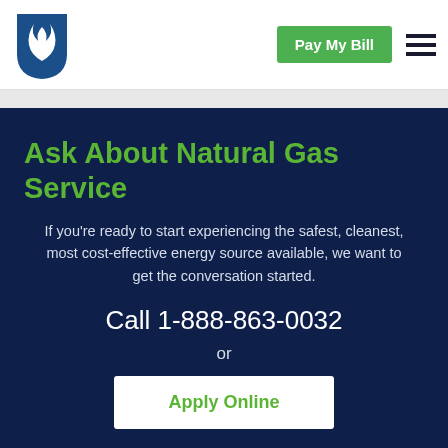[Figure (logo): Utility company logo — blue shield shape with white flame icon]
Pay My Bill
Ask About Natural Gas Service
If you're ready to start experiencing the safest, cleanest, most cost-effective energy source available, we want to get the conversation started.
Call 1-888-863-0032
or
Apply Online